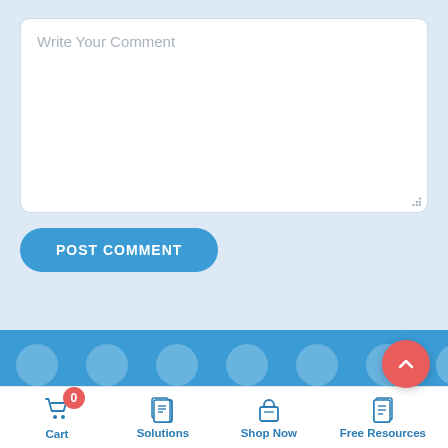[Figure (screenshot): Comment text area input box with placeholder text 'Write Your Comment' and a resize handle in the bottom-right corner]
Write Your Comment
[Figure (screenshot): Blue rounded 'POST COMMENT' button]
POST COMMENT
[Figure (screenshot): Blue banner with blurred content and a red circular scroll-to-top button with upward chevron]
Cart  Solutions  Shop Now  Free Resources
Cart
0
Solutions
Shop Now
Free Resources